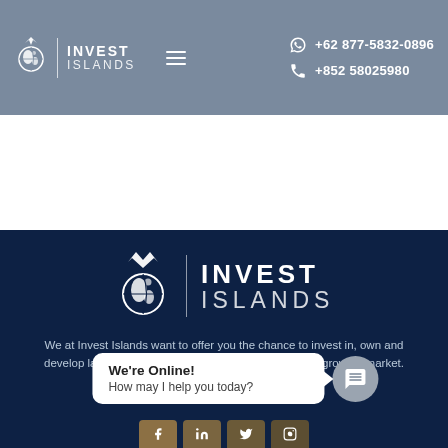Invest Islands | +62 877-5832-0896 | +852 58025980
[Figure (logo): Invest Islands logo with globe and crown icon, white on blue-grey background, large version on dark navy background]
We at Invest Islands want to offer you the chance to invest in, own and develop land that will allow you to make profit in a fast-growing market.
We're Online! How may I help you today?